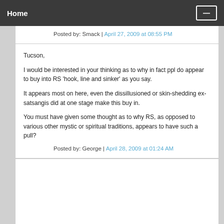Home
Posted by: Smack | April 27, 2009 at 08:55 PM
Tucson,

I would be interested in your thinking as to why in fact ppl do appear to buy into RS 'hook, line and sinker' as you say.

It appears most on here, even the dissillusioned or skin-shedding ex-satsangis did at one stage make this buy in.

You must have given some thought as to why RS, as opposed to various other mystic or spiritual traditions, appears to have such a pull?
Posted by: George | April 28, 2009 at 01:24 AM